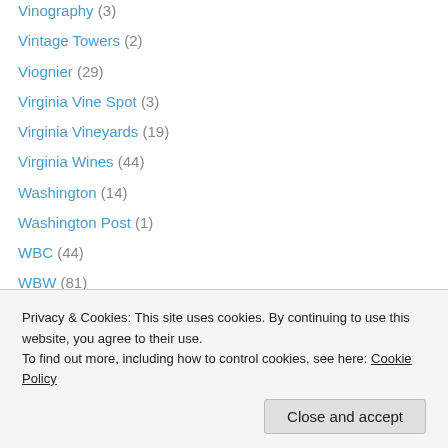Vinography (3)
Vintage Towers (2)
Viognier (29)
Virginia Vine Spot (3)
Virginia Vineyards (19)
Virginia Wines (44)
Washington (14)
Washington Post (1)
WBC (44)
WBW (81)
White (410)
Willamette Valley (1)
Williamsburg Winery (3)
Wilson Winery (2)
Wine Laws (6)
Privacy & Cookies: This site uses cookies. By continuing to use this website, you agree to their use. To find out more, including how to control cookies, see here: Cookie Policy